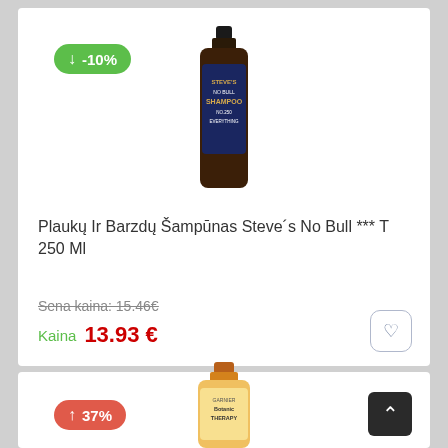[Figure (photo): Dark brown shampoo bottle - Steve's No Bull T 250ml product]
Plaukų Ir Barzdų Šampūnas Steve´s No Bull *** T 250 Ml
Sena kaina: 15.46€
Kaina  13.93 €
[Figure (photo): Gold/honey colored Garnier Botanic Therapy shampoo bottle]